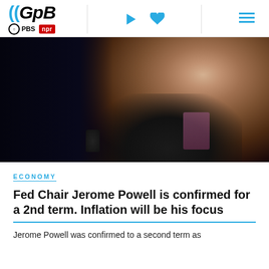GPB | PBS | NPR
[Figure (photo): Close-up profile photo of Jerome Powell, an older man with glasses, wearing a dark suit and pink/mauve patterned tie, against a dark background with a microphone visible]
ECONOMY
Fed Chair Jerome Powell is confirmed for a 2nd term. Inflation will be his focus
Jerome Powell was confirmed to a second term as